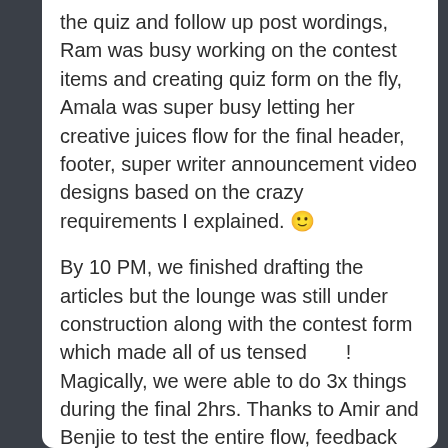the quiz and follow up post wordings, Ram was busy working on the contest items and creating quiz form on the fly, Amala was super busy letting her creative juices flow for the final header, footer, super writer announcement video designs based on the crazy requirements I explained. 🙂
By 10 PM, we finished drafting the articles but the lounge was still under construction along with the contest form which made all of us tensed      ! Magically, we were able to do 3x things during the final 2hrs. Thanks to Amir and Benjie to test the entire flow, feedback process at the very last moment without any hiccups.
And Tada      We managed it on time... The Super Reads lounge was up by 12.12 AM on 12th Dec'20. We were all excited with the